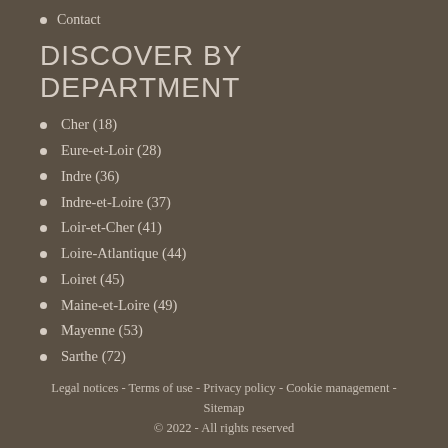Contact
DISCOVER BY DEPARTMENT
Cher (18)
Eure-et-Loir (28)
Indre (36)
Indre-et-Loire (37)
Loir-et-Cher (41)
Loire-Atlantique (44)
Loiret (45)
Maine-et-Loire (49)
Mayenne (53)
Sarthe (72)
Legal notices - Terms of use - Privacy policy - Cookie management - Sitemap
© 2022 - All rights reserved